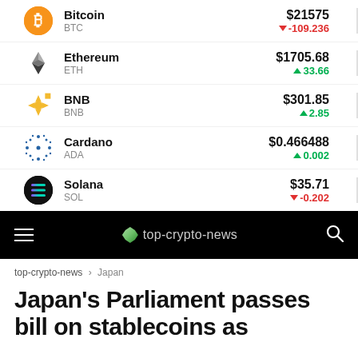| Coin | Symbol | Price | Change |
| --- | --- | --- | --- |
| Bitcoin | BTC | $21575 | -109.236 |
| Ethereum | ETH | $1705.68 | +33.66 |
| BNB | BNB | $301.85 | +2.85 |
| Cardano | ADA | $0.466488 | +0.002 |
| Solana | SOL | $35.71 | -0.202 |
top-crypto-news
top-crypto-news > Japan
Japan's Parliament passes bill on stablecoins as